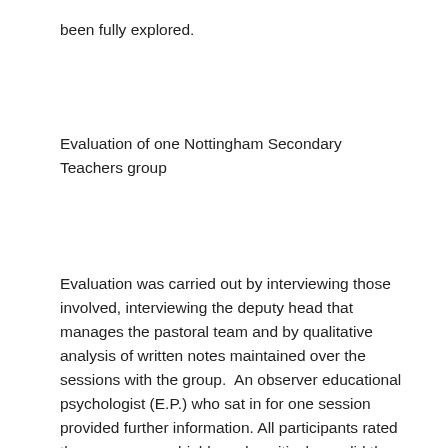been fully explored.
Evaluation of one Nottingham Secondary Teachers group
Evaluation was carried out by interviewing those involved, interviewing the deputy head that manages the pastoral team and by qualitative analysis of written notes maintained over the sessions with the group.  An observer educational psychologist (E.P.) who sat in for one session provided further information. All participants rated the process very highly and positively, as did the EP observer and the school's management team.  Comments made